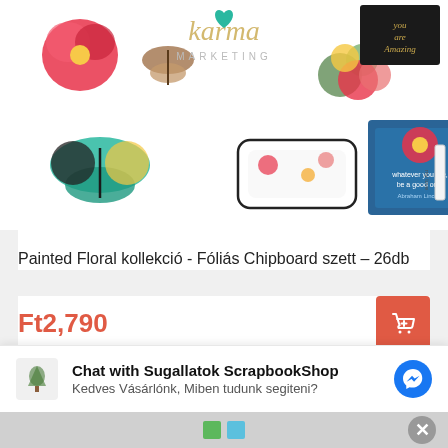[Figure (photo): Product image showing Painted Floral collection chipboard set with floral decorations, butterflies, labels, and inspirational quote cards arranged on white background]
Painted Floral kollekció - Fóliás Chipboard szett – 26db
Ft2,790
Wishlist
Chat with Sugallatok ScrapbookShop
Kedves Vásárlónk, Miben tudunk segiteni?